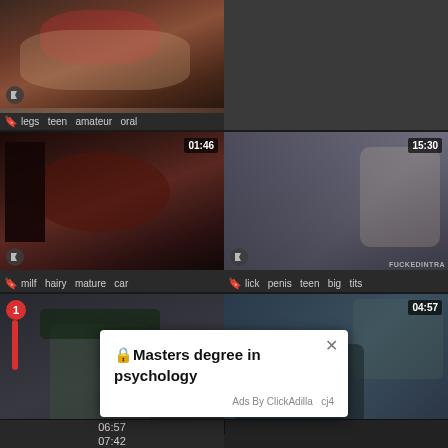[Figure (screenshot): Adult video thumbnail grid page with video thumbnails, tags, and an ad popup overlay for 'Masters degree in psychology' by ClickAdilla]
legs  teen  amateur  oral
01:46
milf  hairy  mature  car
15:30
lick  penis  teen  big  tits
04:57
Masters degree in psychology
Ads By ClickAdilla   cj4
06:57
07:42